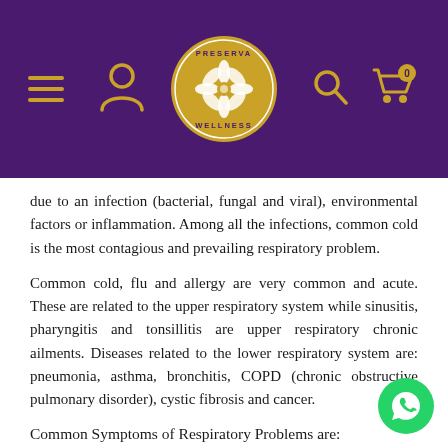[Figure (logo): Preserva Wellness logo — circular gold badge on purple background with floral motif and text PRESERVA WELLNESS. Navigation icons: hamburger menu, person, search, cart with badge '0'.]
due to an infection (bacterial, fungal and viral), environmental factors or inflammation. Among all the infections, common cold is the most contagious and prevailing respiratory problem.
Common cold, flu and allergy are very common and acute. These are related to the upper respiratory system while sinusitis, pharyngitis and tonsillitis are upper respiratory chronic ailments. Diseases related to the lower respiratory system are: pneumonia, asthma, bronchitis, COPD (chronic obstructive pulmonary disorder), cystic fibrosis and cancer.
Common Symptoms of Respiratory Problems are:
1. Tightness and shortness of breath
2. Wheezing
3. Chest pain
4. Chronic cough and mucus during coughing
[Figure (logo): Green circular WhatsApp button icon in bottom-right corner]